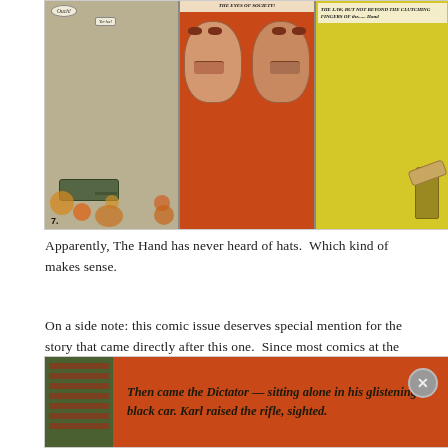[Figure (illustration): Comic strip panels showing: left panel with tank explosion and speech bubble 'OUCH!'; center panel with two men's faces on red background; right panel with yellow background showing text about 'THE LAW, BUT NOT BEYOND THE CLUTCHING FINGERS OF the...... Hand' and a hand pointing figure]
Apparently, The Hand has never heard of hats.  Which kind of makes sense.
On a side note: this comic issue deserves special mention for the story that came directly after this one.  Since most comics at the time were anthologies publishing short stories of only a couple of pages, we got treated to this one.
[Figure (illustration): Bottom comic panel with green/dark left side and red background showing text 'Then came the Dictator — sitting alone in his glistening black car. Karl raised the rifle, sighted.']
Advertisements
[Figure (screenshot): DuckDuckGo advertisement banner: orange section reading 'Search, browse, and email with more privacy. All in One Free App' and dark section with DuckDuckGo duck logo]